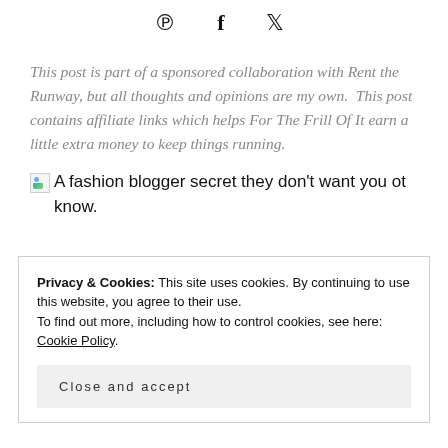[Figure (infographic): Social media share icons: Pinterest (P), Facebook (f), Twitter bird icon]
This post is part of a sponsored collaboration with Rent the Runway, but all thoughts and opinions are my own.  This post contains affiliate links which helps For The Frill Of It earn a little extra money to keep things running.
[Figure (photo): Broken image placeholder with alt text: A fashion blogger secret they don't want you ot know.]
Privacy & Cookies: This site uses cookies. By continuing to use this website, you agree to their use.
To find out more, including how to control cookies, see here: Cookie Policy
Close and accept
Every cent on clothes, despite what their feed